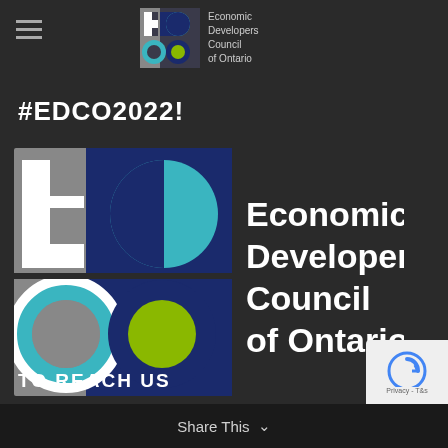[Figure (logo): EDCO logo small in header with hamburger menu]
#EDCO2022!
[Figure (logo): Large EDCO logo — Economic Developers Council of Ontario logo with colored circles and text]
TO REACH US
Share This